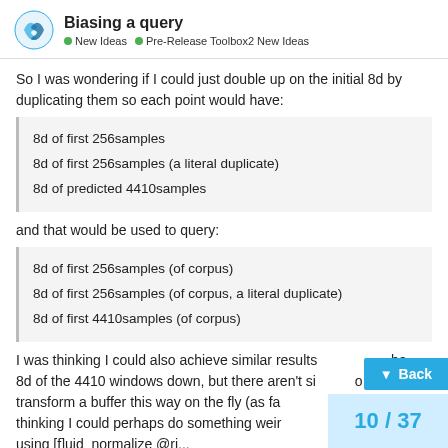Biasing a query | New Ideas | Pre-Release Toolbox2 New Ideas
So I was wondering if I could just double up on the initial 8d by duplicating them so each point would have:
8d of first 256samples
8d of first 256samples (a literal duplicate)
8d of predicted 4410samples
and that would be used to query:
8d of first 256samples (of corpus)
8d of first 256samples (of corpus, a literal duplicate)
8d of first 4410samples (of corpus)
I was thinking I could also achieve similar results the 8d of the 4410 windows down, but there aren't si to transform a buffer this way on the fly (as fa thinking I could perhaps do something weir using [f]uid_normalize @ri...